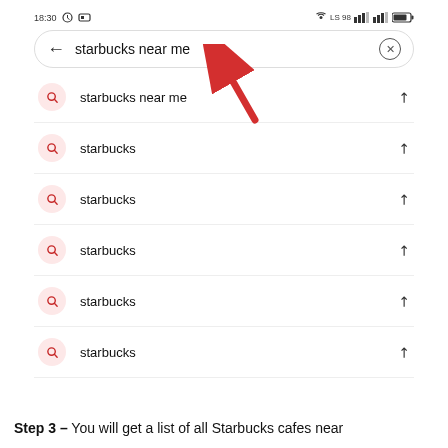[Figure (screenshot): Android phone screenshot showing a Google search bar with 'starbucks near me' typed, a red arrow annotation pointing to the search bar, and a list of autocomplete suggestions all showing 'starbucks' or 'starbucks near me' with search icons and diagonal arrow icons.]
Step 3 – You will get a list of all Starbucks cafes near